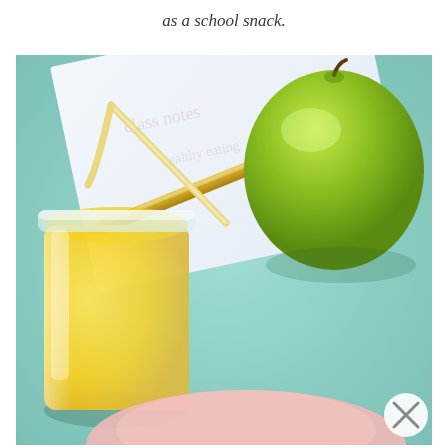as a school snack.
[Figure (photo): Photo of a school snack scene on a mint/teal wooden table surface: a glass mason jar filled with orange juice and a gold/yellow straw, a green apple (Granny Smith), a gold pencil lying diagonally on white paper/notebook, and a pink plate partially visible at the bottom. A circular close/dismiss button (X) is visible in the bottom right corner.]